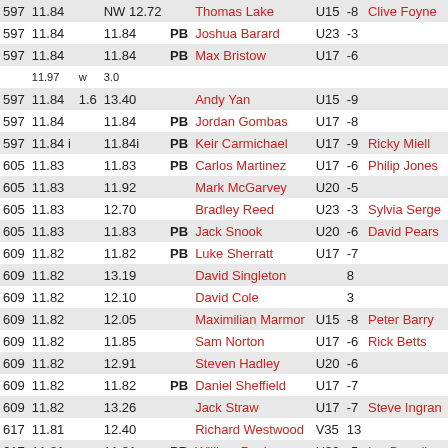| Rank | Perf |  | Best | PB | Name | Cat | Wind | Coach |
| --- | --- | --- | --- | --- | --- | --- | --- | --- |
| 597 | 11.84 |  | NW 12.72 |  | Thomas Lake | U15 | -8 | Clive Foyne |
| 597 | 11.84 |  | 11.84 | PB | Joshua Barard | U23 | -3 |  |
| 597 | 11.84 |  | 11.84 | PB | Max Bristow | U17 | -6 |  |
|  | 11.97 | w | 3.0 |  |  |  |  |  |
| 597 | 11.84 | 1.6 | 13.40 |  | Andy Yan | U15 | -9 |  |
| 597 | 11.84 |  | 11.84 | PB | Jordan Gombas | U17 | -8 |  |
| 597 | 11.84 i |  | 11.84i | PB | Keir Carmichael | U17 | -9 | Ricky Miell |
| 605 | 11.83 |  | 11.83 | PB | Carlos Martinez | U17 | -6 | Philip Jones |
| 605 | 11.83 |  | 11.92 |  | Mark McGarvey | U20 | -5 |  |
| 605 | 11.83 |  | 12.70 |  | Bradley Reed | U23 | -3 | Sylvia Serge |
| 605 | 11.83 |  | 11.83 | PB | Jack Snook | U20 | -6 | David Pears |
| 609 | 11.82 |  | 11.82 | PB | Luke Sherratt | U17 | -7 |  |
| 609 | 11.82 |  | 13.19 |  | David Singleton |  | 8 |  |
| 609 | 11.82 |  | 12.10 |  | David Cole |  | 3 |  |
| 609 | 11.82 |  | 12.05 |  | Maximilian Marmor | U15 | -8 | Peter Barry |
| 609 | 11.82 |  | 11.85 |  | Sam Norton | U17 | -6 | Rick Betts |
| 609 | 11.82 |  | 12.91 |  | Steven Hadley | U20 | -6 |  |
| 609 | 11.82 |  | 11.82 | PB | Daniel Sheffield | U17 | -7 |  |
| 609 | 11.82 |  | 13.26 |  | Jack Straw | U17 | -7 | Steve Ingran |
| 617 | 11.81 |  | 12.40 |  | Richard Westwood | V35 | 13 |  |
| 617 | 11.81 |  | 11.81 | PB | William Poole | U20 | -5 | Ian Broadhu |
| 617 | 11.81 |  | 11.81 | PB | Gordon Lester | U23 | -3 | Ian Grant |
| 617 | 11.81 |  | 11.81 | PB | Hugh Thorogood | U20 | -4 | Richard Phe |